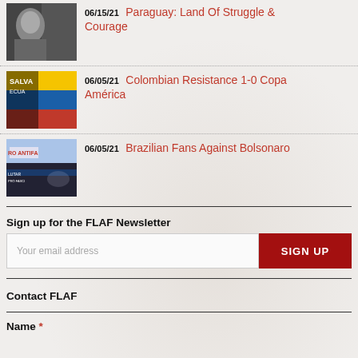06/15/21 Paraguay: Land Of Struggle & Courage
06/05/21 Colombian Resistance 1-0 Copa América
06/05/21 Brazilian Fans Against Bolsonaro
Sign up for the FLAF Newsletter
Your email address
Contact FLAF
Name *